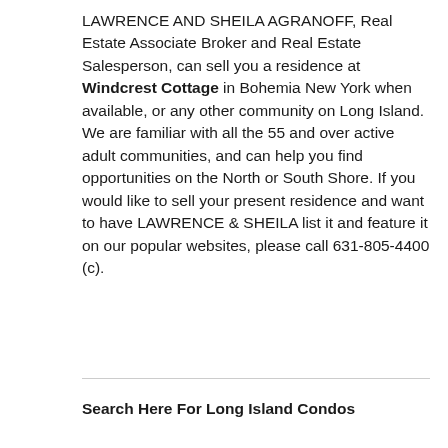LAWRENCE AND SHEILA AGRANOFF, Real Estate Associate Broker and Real Estate Salesperson, can sell you a residence at Windcrest Cottage in Bohemia New York when available, or any other community on Long Island. We are familiar with all the 55 and over active adult communities, and can help you find opportunities on the North or South Shore. If you would like to sell your present residence and want to have LAWRENCE & SHEILA list it and feature it on our popular websites, please call 631-805-4400 (c).
Search Here For Long Island Condos